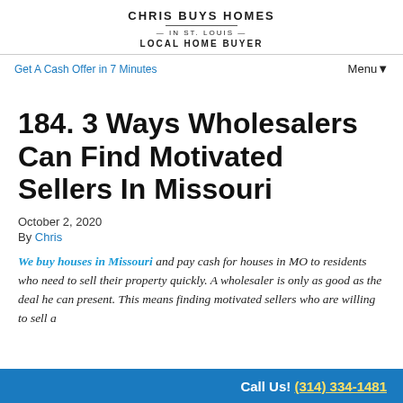CHRIS BUYS HOMES
— IN ST. LOUIS —
LOCAL HOME BUYER
Get A Cash Offer in 7 Minutes
Menu ▼
184. 3 Ways Wholesalers Can Find Motivated Sellers In Missouri
October 2, 2020
By Chris
We buy houses in Missouri and pay cash for houses in MO to residents who need to sell their property quickly. A wholesaler is only as good as the deal he can present. This means finding motivated sellers who are willing to sell a
Call Us! (314) 334-1481